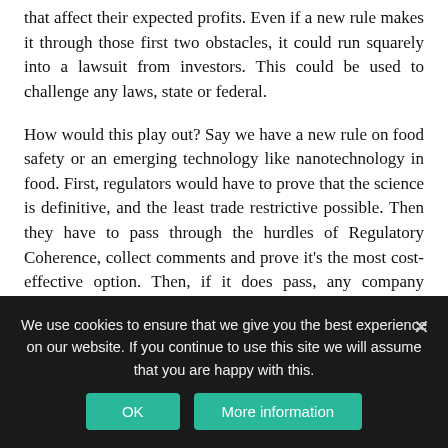that affect their expected profits. Even if a new rule makes it through those first two obstacles, it could run squarely into a lawsuit from investors. This could be used to challenge any laws, state or federal.

How would this play out? Say we have a new rule on food safety or an emerging technology like nanotechnology in food. First, regulators would have to prove that the science is definitive, and the least trade restrictive possible. Then they have to pass through the hurdles of Regulatory Coherence, collect comments and prove it's the most cost-effective option. Then, if it does pass, any company alleging damages could use the data on costs gathered in the impact assessment as evidence for an investor-state lawsuit. It will
We use cookies to ensure that we give you the best experience on our website. If you continue to use this site we will assume that you are happy with this.